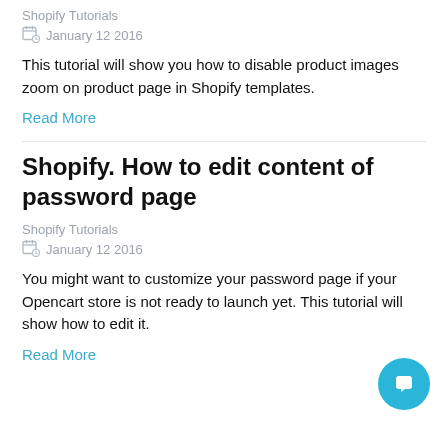Shopify Tutorials
January 12 2016
This tutorial will show you how to disable product images zoom on product page in Shopify templates.
Read More
Shopify. How to edit content of password page
Shopify Tutorials
January 12 2016
You might want to customize your password page if your Opencart store is not ready to launch yet. This tutorial will show how to edit it.
Read More